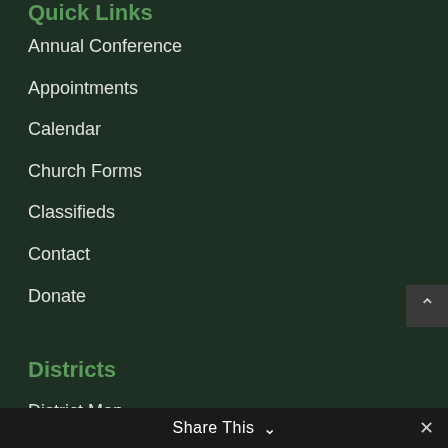Quick Links
Annual Conference
Appointments
Calendar
Church Forms
Classifieds
Contact
Donate
Districts
District Map
North District
East District
South District
West District
Share This ∨  ✕